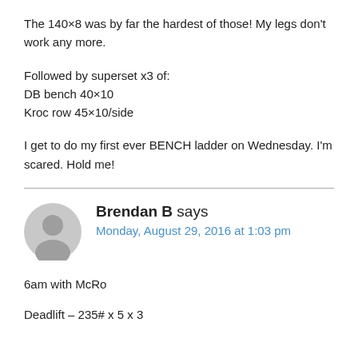The 140×8 was by far the hardest of those! My legs don't work any more.
Followed by superset x3 of:
DB bench 40×10
Kroc row 45×10/side
I get to do my first ever BENCH ladder on Wednesday. I'm scared. Hold me!
Brendan B says
Monday, August 29, 2016 at 1:03 pm
6am with McRo
Deadlift – 235# x 5 x 3